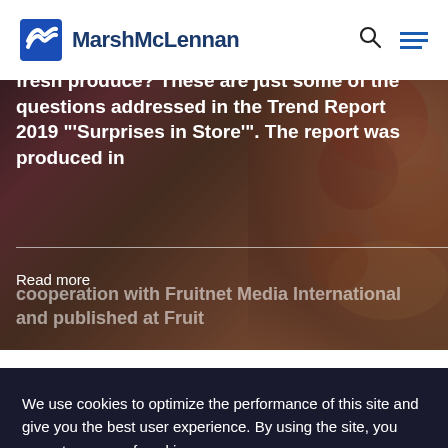MarshMcLennan
[Figure (photo): Hero image of fresh produce/fruits with overlaid white text. Shows a colorful background of fruits (tomatoes, pasta, etc.) with dark overlay.]
fresh produce? These are just some of the questions addressed in the Trend Report 2019 "'Surprises in Store'". The report was produced in cooperation with Fruitnet Media International and published at Fruit
Read more
We use cookies to optimize the performance of this site and give you the best user experience. By using the site, you accept our use of cookies.
Okay
Manage Cookies